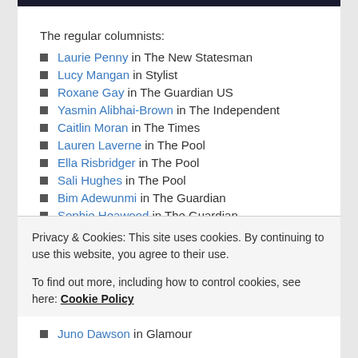[Figure (photo): Dark image banner at top of page]
The regular columnists:
Laurie Penny in The New Statesman
Lucy Mangan in Stylist
Roxane Gay in The Guardian US
Yasmin Alibhai-Brown in The Independent
Caitlin Moran in The Times
Lauren Laverne in The Pool
Ella Risbridger in The Pool
Sali Hughes in The Pool
Bim Adewunmi in The Guardian
Sophie Heawood in The Guardian
Eva Wiseman in The Observer
Juno Dawson in Glamour
Privacy & Cookies: This site uses cookies. By continuing to use this website, you agree to their use. To find out more, including how to control cookies, see here: Cookie Policy